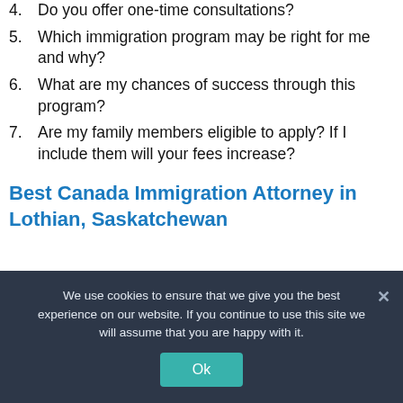4. Do you offer one-time consultations?
5. Which immigration program may be right for me and why?
6. What are my chances of success through this program?
7. Are my family members eligible to apply? If I include them will your fees increase?
Best Canada Immigration Attorney in Lothian, Saskatchewan
We use cookies to ensure that we give you the best experience on our website. If you continue to use this site we will assume that you are happy with it.